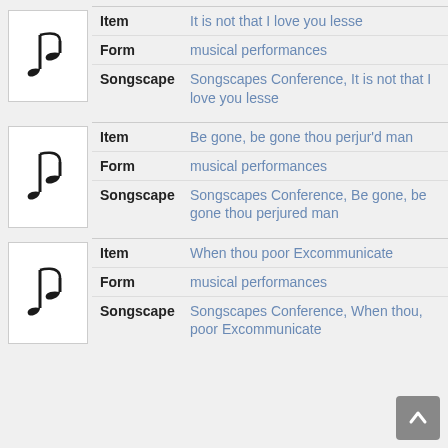|  | Field | Value |
| --- | --- | --- |
| [music note icon] | Item | It is not that I love you lesse |
|  | Form | musical performances |
|  | Songscape | Songscapes Conference, It is not that I love you lesse |
|  | Field | Value |
| --- | --- | --- |
| [music note icon] | Item | Be gone, be gone thou perjur'd man |
|  | Form | musical performances |
|  | Songscape | Songscapes Conference, Be gone, be gone thou perjured man |
|  | Field | Value |
| --- | --- | --- |
| [music note icon] | Item | When thou poor Excommunicate |
|  | Form | musical performances |
|  | Songscape | Songscapes Conference, When thou, poor Excommunicate |